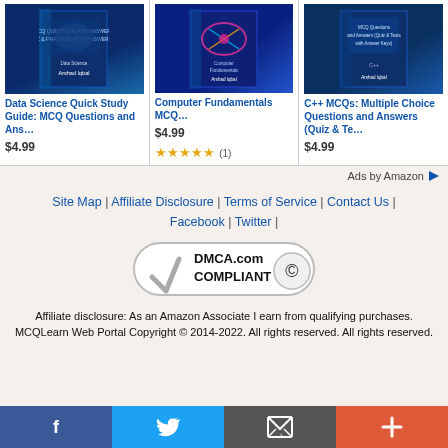[Figure (screenshot): Three Amazon product listing cards: 'Data Science Quick Study Guide: MCQ Questions and Ans…' $4.99, 'Computer Fundamentals MCQ… $4.99 ★★★★★ (1)', 'C++ MCQs: Multiple Choice Questions and Answers (Quiz & Te…' $4.99]
Ads by Amazon
Site Map | Affiliate Disclosure | Terms of Service | Contact Us | Facebook | Twitter |
[Figure (logo): DMCA.com Compliant badge with checkmark and copyright symbol]
Affiliate disclosure: As an Amazon Associate I earn from qualifying purchases.
MCQLearn Web Portal Copyright © 2014-2022. All rights reserved. All rights reserved.
[Figure (infographic): Social share bar with Facebook (blue), Twitter (light blue), Email (gray), and Plus (orange-red) buttons]